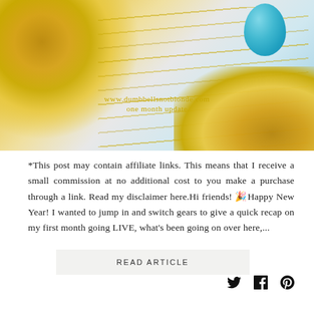[Figure (photo): Blog header photo with gold glitter confetti on the left and bottom-right, gold diagonal streaks in the center, and a teal/blue balloon in the upper right. White/light background.]
www.dumbbellsnotblonde.com
one month update
*This post may contain affiliate links. This means that I receive a small commission at no additional cost to you make a purchase through a link. Read my disclaimer here.Hi friends! 🎉Happy New Year! I wanted to jump in and switch gears to give a quick recap on my first month going LIVE, what's been going on over here,...
READ ARTICLE